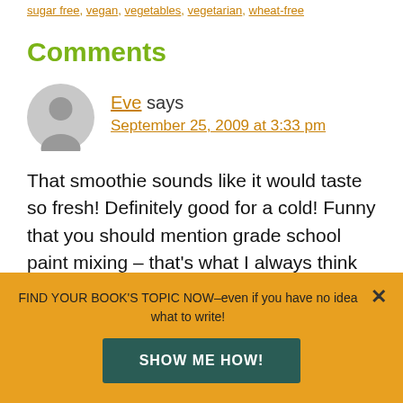sugar free, vegan, vegetables, vegetarian, wheat-free
Comments
Eve says
September 25, 2009 at 3:33 pm
That smoothie sounds like it would taste so fresh! Definitely good for a cold! Funny that you should mention grade school paint mixing – that's what I always think about when I make my
FIND YOUR BOOK'S TOPIC NOW–even if you have no idea what to write!
SHOW ME HOW!